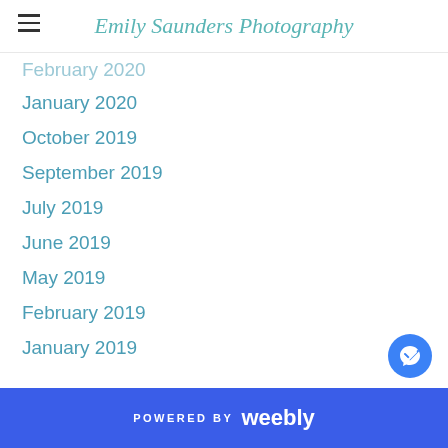Emily Saunders Photography
February 2020 (partial, clipped)
January 2020
October 2019
September 2019
July 2019
June 2019
May 2019
February 2019
January 2019
Categories
All
RSS Feed
POWERED BY weebly